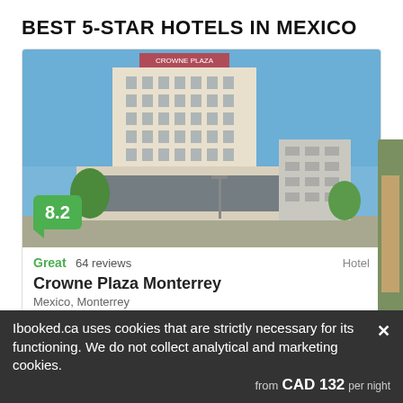BEST 5-STAR HOTELS IN MEXICO
[Figure (photo): Photo of Crowne Plaza Monterrey hotel building exterior against blue sky, with a green score badge showing 8.2]
Great  64 reviews   Hotel
Crowne Plaza Monterrey
Mexico, Monterrey
★ ★ ★ ★ ★
Less than 2 km from the city centre of Monterrey, this 403-room
Ibooked.ca uses cookies that are strictly necessary for its functioning. We do not collect analytical and marketing cookies.
from CAD 132 per night